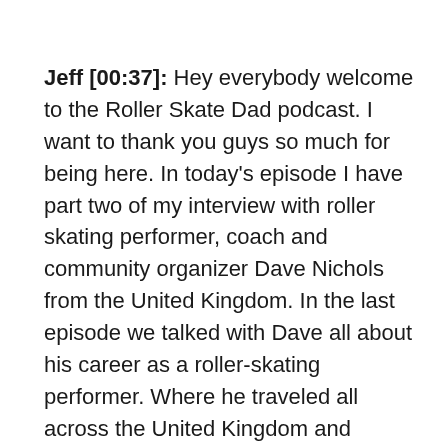Jeff [00:37]: Hey everybody welcome to the Roller Skate Dad podcast. I want to thank you guys so much for being here. In today's episode I have part two of my interview with roller skating performer, coach and community organizer Dave Nichols from the United Kingdom. In the last episode we talked with Dave all about his career as a roller-skating performer. Where he traveled all across the United Kingdom and performed in front of live audiences doing artistic skating. In this episode Dave and I talked more about his time in his